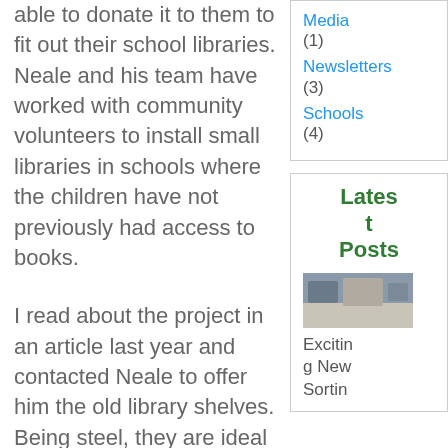able to donate it to them to fit out their school libraries. Neale and his team have worked with community volunteers to install small libraries in schools where the children have not previously had access to books.
I read about the project in an article last year and contacted Neale to offer him the old library shelves. Being steel, they are ideal for the humid tropical
Media (1)
Newsletters (3)
Schools (4)
Latest Posts
[Figure (photo): Thumbnail image of library shelves or related topic]
Exciting New Sortin